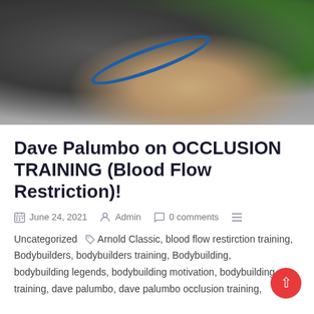[Figure (photo): A muscular man in a dark branded shirt flexing his arm with a blue occlusion band/cuff wrapped around his upper arm, seated in a gaming chair. Background shows green equipment and dark decor.]
Dave Palumbo on OCCLUSION TRAINING (Blood Flow Restriction)!
June 24, 2021   Admin   0 comments
Uncategorized   Arnold Classic, blood flow restirction training, Bodybuilders, bodybuilders training, Bodybuilding, bodybuilding legends, bodybuilding motivation, bodybuilding training, dave palumbo, dave palumbo occlusion training,